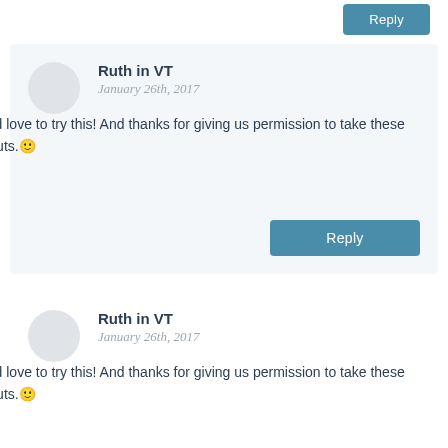Reply
Ruth in VT
January 26th, 2017
I would love to try this! And thanks for giving us permission to take these shortcuts. 🙂
👍
Reply
Ruth in VT
January 26th, 2017
I would love to try this! And thanks for giving us permission to take these shortcuts. 🙂